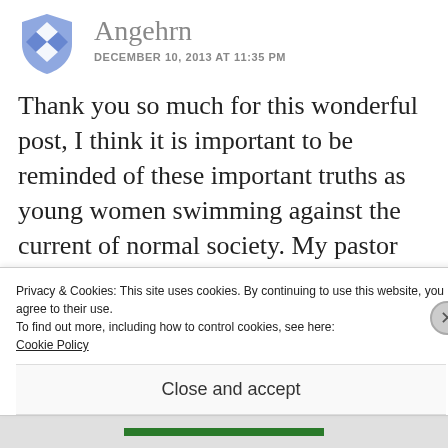[Figure (logo): Blue Dropbox-style diamond/shield avatar icon for user Angehrn]
Angehrn
DECEMBER 10, 2013 AT 11:35 PM
Thank you so much for this wonderful post, I think it is important to be reminded of these important truths as young women swimming against the current of normal society. My pastor one said: If you want to find a husband or a
Privacy & Cookies: This site uses cookies. By continuing to use this website, you agree to their use.
To find out more, including how to control cookies, see here:
Cookie Policy
Close and accept